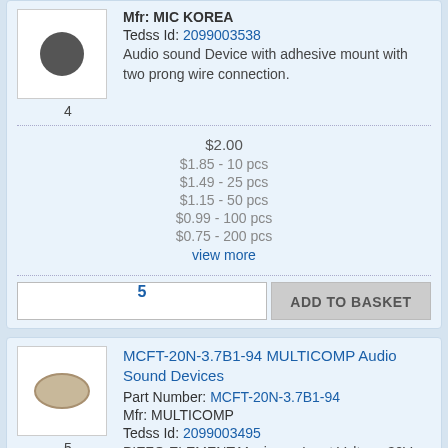[Figure (photo): Small round dark microphone component image, item number 4]
Mfr: MIC KOREA
Tedss Id: 2099003538
Audio sound Device with adhesive mount with two prong wire connection.
$2.00
$1.85 - 10 pcs
$1.49 - 25 pcs
$1.15 - 50 pcs
$0.99 - 100 pcs
$0.75 - 200 pcs
view more
5  ADD TO BASKET
[Figure (photo): Round white piezo element disc component image, item number 5]
MCFT-20N-3.7B1-94 MULTICOMP Audio Sound Devices
Part Number: MCFT-20N-3.7B1-94
Mfr: MULTICOMP
Tedss Id: 2099003495
PIEZO ELEMENT.Maximum Input Voltage 30Vp-p /Max. Resonant Frequency 3.7 +0.5kHz